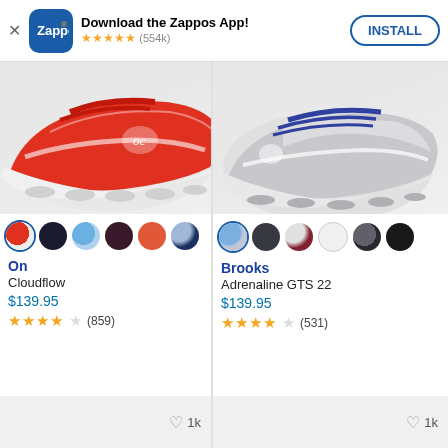[Figure (screenshot): Zappos app install banner with blue Zappos logo icon, 5-star rating (554k reviews), and INSTALL button]
[Figure (photo): On Cloudflow running shoe in red/white colorway, cropped top view]
[Figure (photo): Brooks Adrenaline GTS 22 running shoe in gray/white/blue colorway, cropped top view]
On
Cloudflow
$139.95
★★★★☆ (859)
Brooks
Adrenaline GTS 22
$139.95
★★★★☆ (531)
♡ 1k
♡ 1k